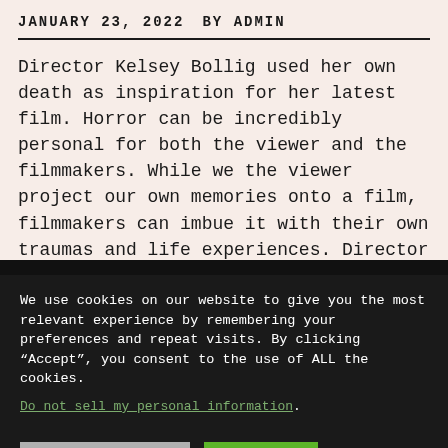JANUARY 23, 2022   BY ADMIN
Director Kelsey Bollig used her own death as inspiration for her latest film. Horror can be incredibly personal for both the viewer and the filmmakers. While we the viewer project our own memories onto a film, filmmakers can imbue it with their own traumas and life experiences. Director Kelsey Bollig …
We use cookies on our website to give you the most relevant experience by remembering your preferences and repeat visits. By clicking “Accept”, you consent to the use of ALL the cookies.
Do not sell my personal information.